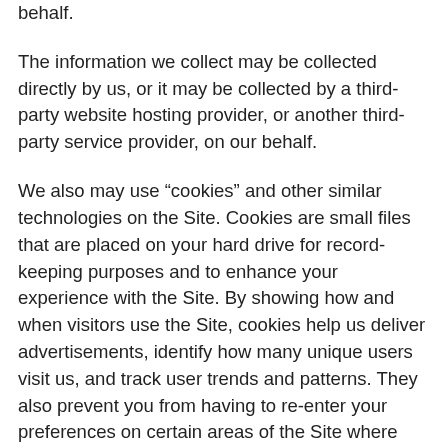behalf.
The information we collect may be collected directly by us, or it may be collected by a third-party website hosting provider, or another third-party service provider, on our behalf.
We also may use “cookies” and other similar technologies on the Site. Cookies are small files that are placed on your hard drive for record-keeping purposes and to enhance your experience with the Site. By showing how and when visitors use the Site, cookies help us deliver advertisements, identify how many unique users visit us, and track user trends and patterns. They also prevent you from having to re-enter your preferences on certain areas of the Site where you may have entered preference information before. This Site also may use web beacons (single-pixel graphic files also known as “transparent